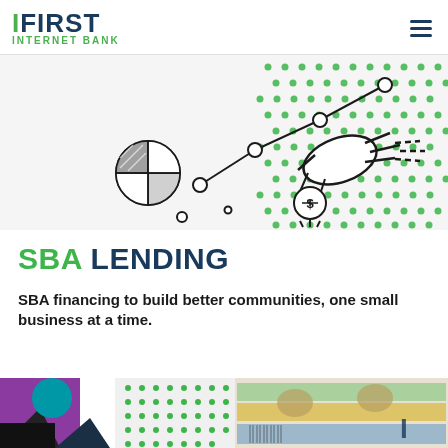First Internet Bank
[Figure (illustration): Line art illustration of a hand reaching toward data/chart nodes connected by lines, with a pie chart and a coin symbol, overlaid on a green halftone dot pattern background]
SBA LENDING
SBA financing to build better communities, one small business at a time.
[Figure (illustration): Bottom strip showing colorful collage images including geometric shapes, green dot pattern, and currency/money imagery]